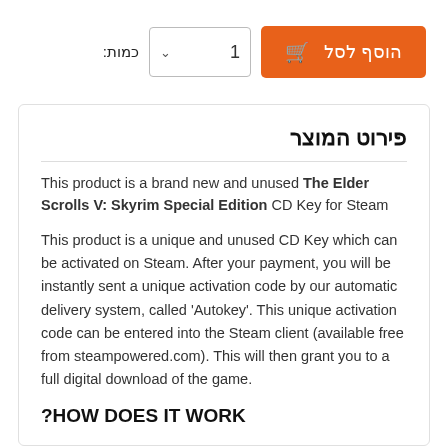כמות:
[Figure (screenshot): Quantity selector showing '1' with dropdown arrow, and an orange 'הוסף לסל' (Add to Cart) button with shopping cart icon]
פירוט המוצר
This product is a brand new and unused The Elder Scrolls V: Skyrim Special Edition CD Key for Steam
This product is a unique and unused CD Key which can be activated on Steam. After your payment, you will be instantly sent a unique activation code by our automatic delivery system, called 'Autokey'. This unique activation code can be entered into the Steam client (available free from steampowered.com). This will then grant you to a full digital download of the game.
HOW DOES IT WORK?